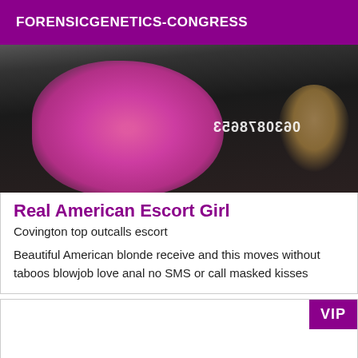FORENSICGENETICS-CONGRESS
[Figure (photo): Photo of a blonde woman wearing a pink top and black outfit with a pearl bracelet, with a mirrored phone number overlay reading 0630878653]
Real American Escort Girl
Covington top outcalls escort
Beautiful American blonde receive and this moves without taboos blowjob love anal no SMS or call masked kisses
VIP